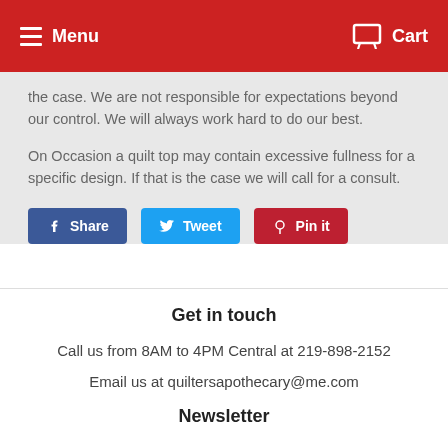Menu  Cart
the case.  We are not responsible for expectations beyond our control. We will always work hard to do our best.
On Occasion a quilt top may contain excessive fullness for a specific design. If that is the case we will call for a consult.
[Figure (other): Social sharing buttons: Share (Facebook), Tweet (Twitter), Pin it (Pinterest)]
Get in touch
Call us from 8AM to 4PM Central at 219-898-2152
Email us at quiltersapothecary@me.com
Newsletter